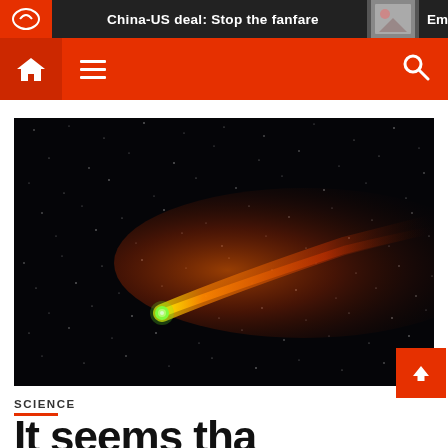China-US deal: Stop the fanfare  Emp
[Figure (photo): Comet with bright orange-red tail streaking across a dark starry night sky, with a bright green nucleus at the head]
SCIENCE
It seems that…